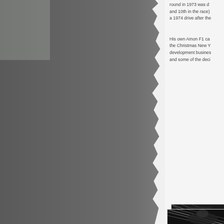[Figure (photo): Left portion of page showing a torn grey background/panel, partially obscuring content beneath. The torn edge runs vertically with ragged texture.]
round in 1973 was a... and 10th in the race)... a 1974 drive after the...
His own Amon F1 ca... the Christmas New Y... development busines... and some of the deci...
[Figure (photo): Black and white photograph of a person, partially visible on the right side of the page. The image shows a close-up with what appears to be a chain-link or mesh fence visible in the background.]